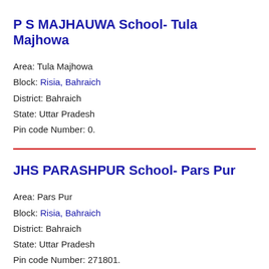P S MAJHAUWA School- Tula Majhowa
Area: Tula Majhowa
Block: Risia, Bahraich
District: Bahraich
State: Uttar Pradesh
Pin code Number: 0.
JHS PARASHPUR School- Pars Pur
Area: Pars Pur
Block: Risia, Bahraich
District: Bahraich
State: Uttar Pradesh
Pin code Number: 271801.